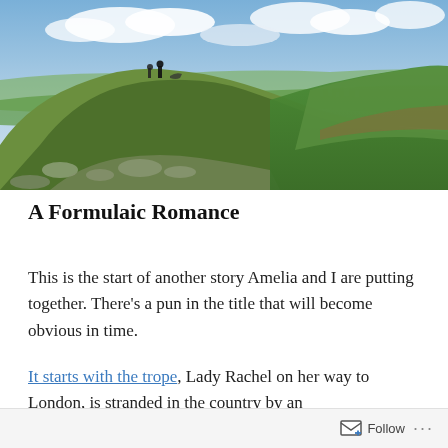[Figure (photo): Landscape photograph of a grassy hilltop ridge with a few people standing at the top, overlooking a wide valley with fields and a town visible in the distance under a partly cloudy sky.]
A Formulaic Romance
This is the start of another story Amelia and I are putting together. There’s a pun in the title that will become obvious in time.
It starts with the trope, Lady Rachel on her way to London, is stranded in the country by an
Follow ...